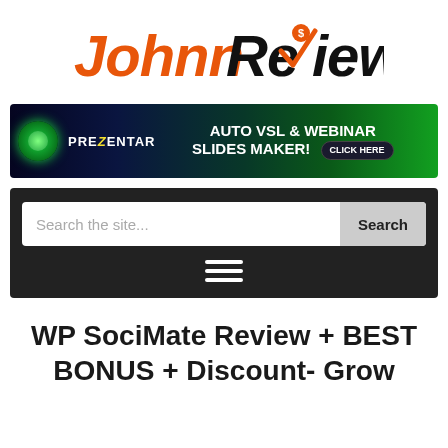[Figure (logo): JohnnReviews logo — 'Johnn' in orange italic font, 'Re' in black, a checkmark with dollar sign replacing the 'v', 'iews' in black]
[Figure (infographic): Prezentar banner ad — dark background with green gradient, text: PREZENTAR AUTO VSL & WEBINAR SLIDES MAKER! CLICK HERE]
[Figure (screenshot): Dark navigation bar with search box placeholder 'Search the site...' and Search button, plus hamburger menu icon]
WP SociMate Review + BEST BONUS + Discount- Grow